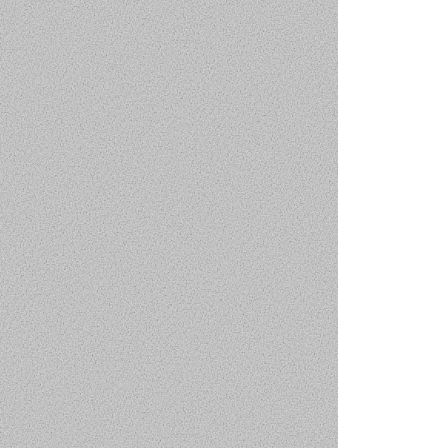[Figure (photo): Light gray linen/fabric textured background filling the left portion of the page]
Day 2, afternoon and eve
Making the main dough a
[Figure (photo): Dark dramatic food photography photo showing what appears to be bread or baked goods on a dark background, partially visible on the right side of the page]